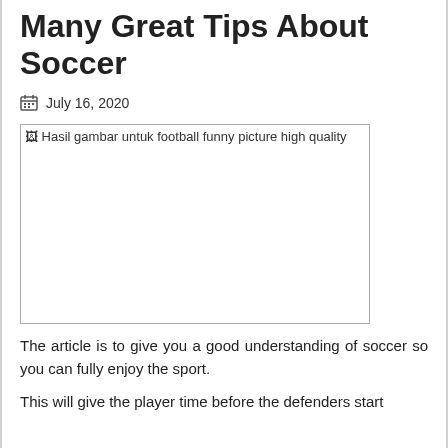Many Great Tips About Soccer
July 16, 2020
[Figure (photo): Broken image placeholder with alt text: Hasil gambar untuk football funny picture high quality]
The article is to give you a good understanding of soccer so you can fully enjoy the sport.
This will give the player time before the defenders start